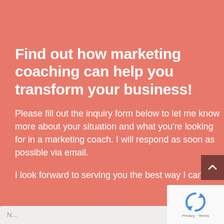Find out how marketing coaching can help you transform your business!
Please fill out the inquiry form below to let me know more about your situation and what you're looking for in a marketing coach. I will respond as soon as possible via email.
I look forward to serving you the best way I can!